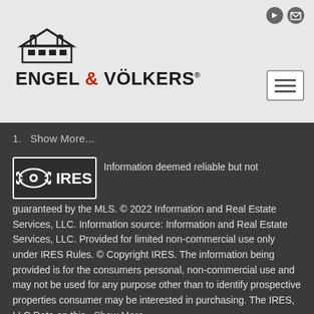[Figure (logo): Engel & Völkers logo with house icon and brand name]
1.  Show More...
[Figure (logo): IRES (Information and Real Estate Services) logo — eye with arrows icon and IRES text]
Information deemed reliable but not guaranteed by the MLS. © 2022 Information and Real Estate Services, LLC. Information source: Information and Real Estate Services, LLC. Provided for limited non-commercial use only under IRES Rules. © Copyright IRES. The information being provided is for the consumers personal, non-commercial use and may not be used for any purpose other than to identify prospective properties consumer may be interested in purchasing. The IRES, LLC Data on this   Show More...